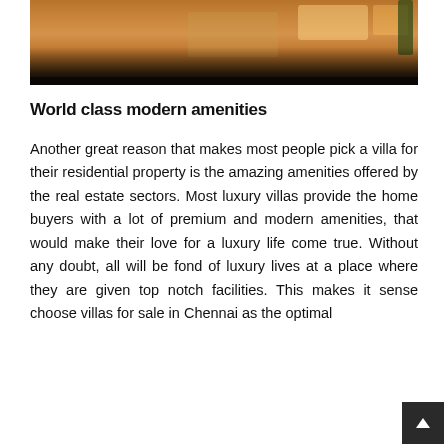[Figure (photo): Exterior photo of a luxury villa at night with warm lighting on the flooring and surrounding greenery]
World class modern amenities
Another great reason that makes most people pick a villa for their residential property is the amazing amenities offered by the real estate sectors. Most luxury villas provide the home buyers with a lot of premium and modern amenities, that would make their love for a luxury life come true. Without any doubt, all will be fond of luxury lives at a place where they are given top notch facilities. This makes it sense choose villas for sale in Chennai as the optimal